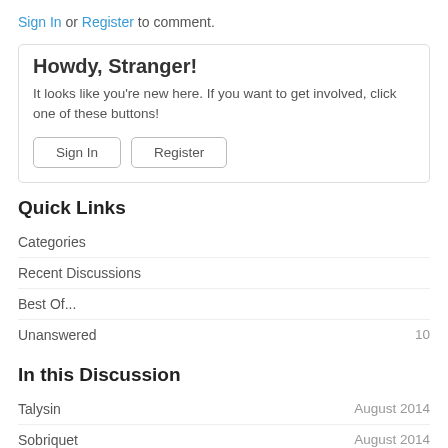Sign In or Register to comment.
Howdy, Stranger!
It looks like you're new here. If you want to get involved, click one of these buttons!
Sign In
Register
Quick Links
Categories
Recent Discussions
Best Of...
Unanswered    10
In this Discussion
Talysin    August 2014
Sobriquet    August 2014
Stuneree    August 2014
Bukarijn    August 2014